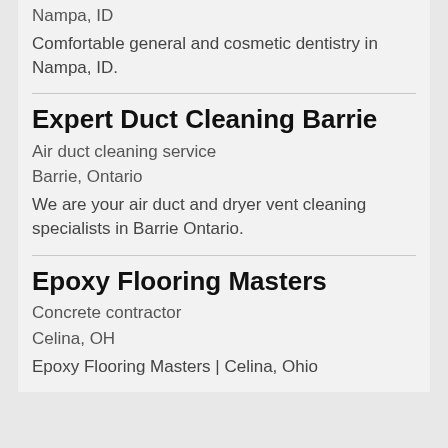Nampa, ID
Comfortable general and cosmetic dentistry in Nampa, ID.
Expert Duct Cleaning Barrie
Air duct cleaning service
Barrie, Ontario
We are your air duct and dryer vent cleaning specialists in Barrie Ontario.
Epoxy Flooring Masters
Concrete contractor
Celina, OH
Epoxy Flooring Masters | Celina, Ohio